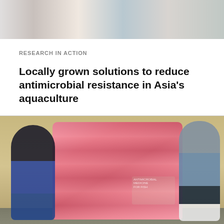[Figure (photo): Close-up photo of laboratory or medical supplies on a surface, shown at the top of the page]
RESEARCH IN ACTION
Locally grown solutions to reduce antimicrobial resistance in Asia's aquaculture
[Figure (photo): Two people standing next to a large pile of pink sacks/bags stacked in a storage facility. One person on the left is wearing dark clothing and pointing at the sacks, the other on the right is wearing a striped shirt and white boots.]